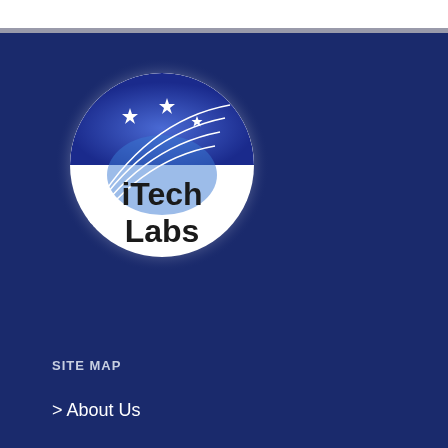[Figure (logo): iTech Labs circular logo with dark blue semicircle top containing white stars and curved lines, glowing white circle background, bold black text 'iTech Labs' in lower half]
SITE MAP
> About Us